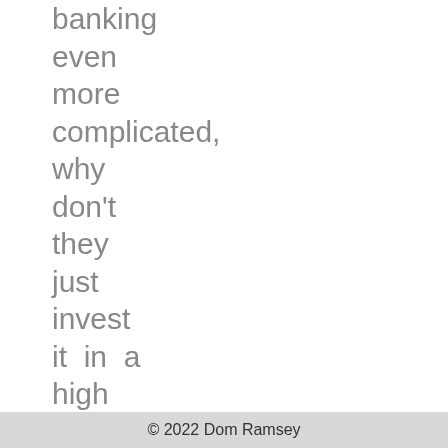banking even more complicated, why don't they just invest it in a high profile anti-phishing
© 2022 Dom Ramsey